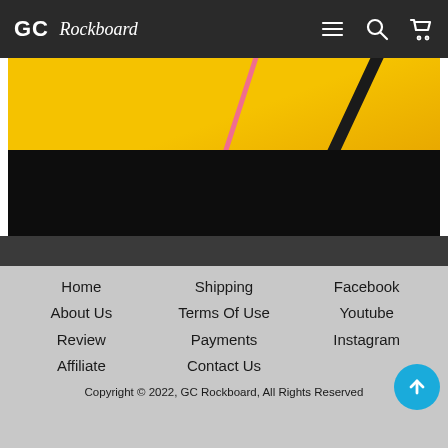GC Rockboard
[Figure (photo): Partial view of a product image with a yellow background and a dark rod/cable, with a black lower section]
Home
About Us
Review
Affiliate
Shipping
Terms Of Use
Payments
Contact Us
Facebook
Youtube
Instagram
Copyright © 2022, GC Rockboard, All Rights Reserved